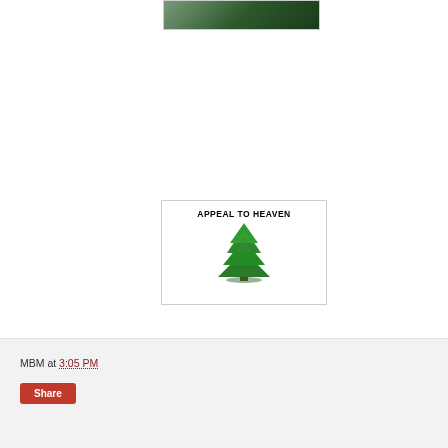[Figure (photo): Partial view of a photo showing dark green/forest scene, cropped at top of page]
[Figure (illustration): Appeal to Heaven flag image: white background with 'APPEAL TO HEAVEN' text in bold black letters at top and a green pine tree illustration below]
MBM at 3:05 PM
Share